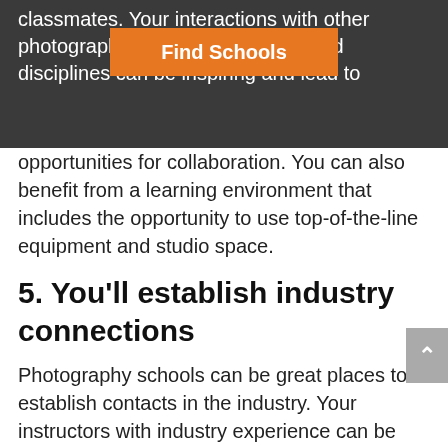classmates. Your interactions with other photography students and students in related disciplines can be inspiring and lead to opportunities for collaboration. You can also benefit from a learning environment that includes the opportunity to use top-of-the-line equipment and studio space.
5. You'll establish industry connections
Photography schools can be great places to establish contacts in the industry. Your instructors with industry experience can be great resources for establishing connections. Not to mention that many schools have career placement services that may be able to help you find jobs and internships.
6. You'll become more employable